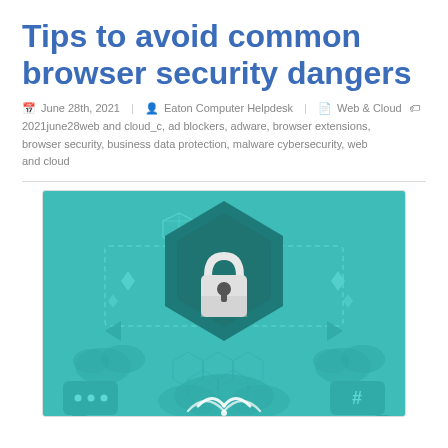Tips to avoid common browser security dangers
June 28th, 2021  Eaton Computer Helpdesk  Web & Cloud  2021june28web and cloud_c, ad blockers, adware, browser extensions, browser security, business data protection, malware cybersecurity, web and cloud
[Figure (illustration): Teal/green illustration of a padlock inside a hexagon shield, surrounded by cloud icons, dotted lines, chat bubbles, and security symbols on a teal background — representing browser security.]